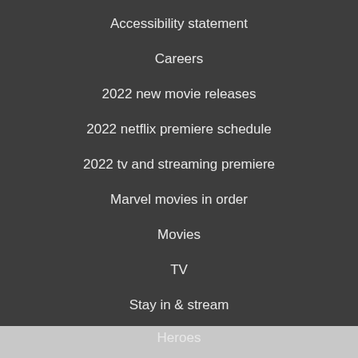Accessibility statement
Careers
2022 new movie releases
2022 netflix premiere schedule
2022 tv and streaming premiere
Marvel movies in order
Movies
TV
Stay in & stream
Heroes